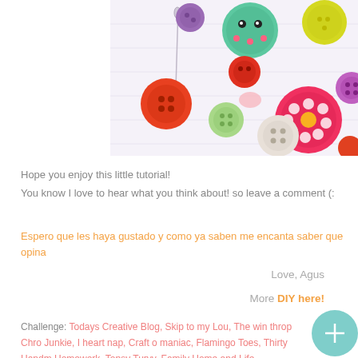[Figure (photo): A photo of colorful decorative buttons of various sizes and colors including red, orange, green, purple, yellow, teal, and white on a light background, with a needle visible. A pink floral button and a decorated round button are prominent.]
Hope you enjoy this little tutorial!
You know I love to hear what you think about! so leave a comment (:
Espero que les haya gustado y como ya saben me encanta saber que opina
Love, Agus
More DIY here!
Challenge: Todays Creative Blog, Skip to my Lou, The win throp Chro Junkie, I heart nap, Craft o maniac, Flamingo Toes, Thirty Handm Homework, Topsy Turvy, Family Home and Life,